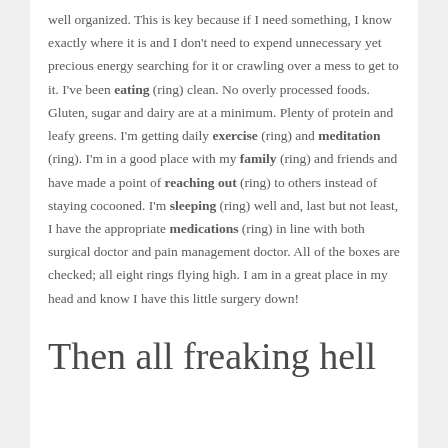well organized. This is key because if I need something, I know exactly where it is and I don't need to expend unnecessary yet precious energy searching for it or crawling over a mess to get to it. I've been eating (ring) clean. No overly processed foods. Gluten, sugar and dairy are at a minimum. Plenty of protein and leafy greens. I'm getting daily exercise (ring) and meditation (ring). I'm in a good place with my family (ring) and friends and have made a point of reaching out (ring) to others instead of staying cocooned. I'm sleeping (ring) well and, last but not least, I have the appropriate medications (ring) in line with both surgical doctor and pain management doctor. All of the boxes are checked; all eight rings flying high. I am in a great place in my head and know I have this little surgery down!
Then all freaking hell